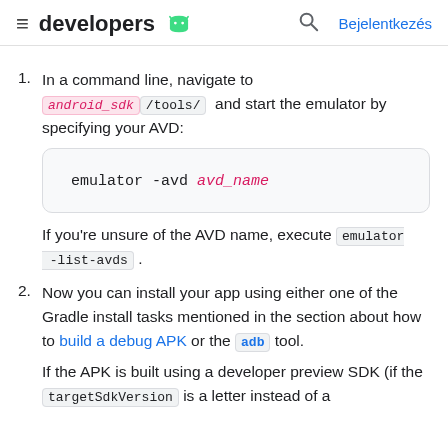developers | Bejelentkezés
1. In a command line, navigate to android_sdk/tools/ and start the emulator by specifying your AVD:
[Figure (screenshot): Code block showing: emulator -avd avd_name]
If you're unsure of the AVD name, execute emulator -list-avds .
2. Now you can install your app using either one of the Gradle install tasks mentioned in the section about how to build a debug APK or the adb tool.
If the APK is built using a developer preview SDK (if the targetSdkVersion is a letter instead of a